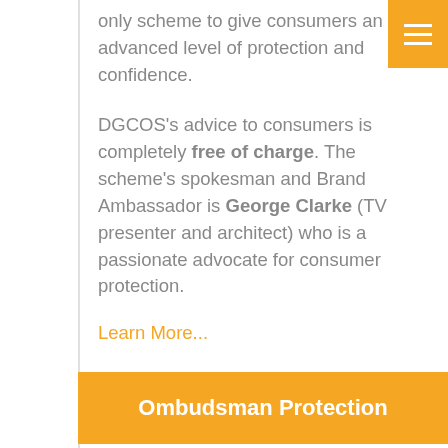only scheme to give consumers an advanced level of protection and confidence.
DGCOS's advice to consumers is completely free of charge. The scheme's spokesman and Brand Ambassador is George Clarke (TV presenter and architect) who is a passionate advocate for consumer protection.
Learn More...
Ombudsman Protection
In the unlikely event that we cannot resolve